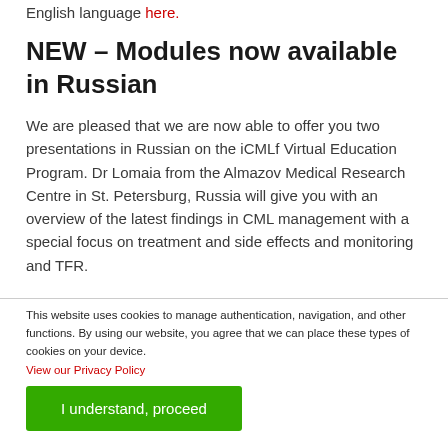English language here.
NEW – Modules now available in Russian
We are pleased that we are now able to offer you two presentations in Russian on the iCMLf Virtual Education Program. Dr Lomaia from the Almazov Medical Research Centre in St. Petersburg, Russia will give you with an overview of the latest findings in CML management with a special focus on treatment and side effects and monitoring and TFR.
This website uses cookies to manage authentication, navigation, and other functions. By using our website, you agree that we can place these types of cookies on your device. View our Privacy Policy
I understand, proceed